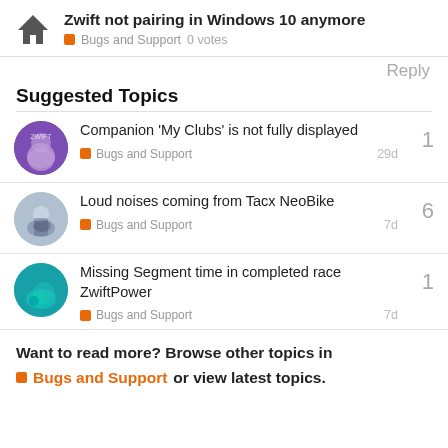Zwift not pairing in Windows 10 anymore · Bugs and Support · 0 votes
Reply
Suggested Topics
Companion 'My Clubs' is not fully displayed · Bugs and Support · 29d · 1 reply
Loud noises coming from Tacx NeoBike · Bugs and Support · 7d · 6 replies
Missing Segment time in completed race ZwiftPower · Bugs and Support · 7d · 1 reply
Want to read more? Browse other topics in Bugs and Support or view latest topics.